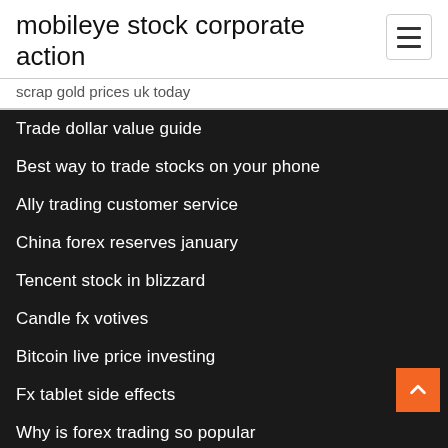mobileye stock corporate action
scrap gold prices uk today
Trade dollar value guide
Best way to trade stocks on your phone
Ally trading customer service
China forex reserves january
Tencent stock in blizzard
Candle fx votives
Bitcoin live price investing
Fx tablet side effects
Why is forex trading so popular
Forex trading free account